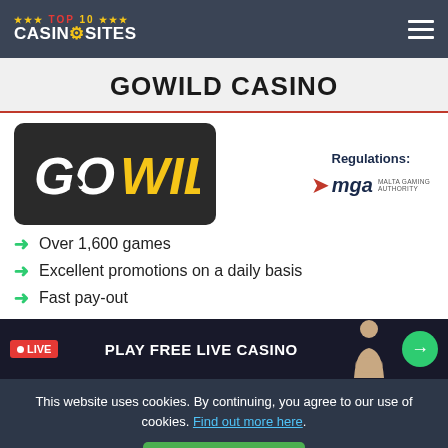TOP 10 CASINOSITES
GOWILD CASINO
[Figure (logo): GoWild Casino logo — dark rounded rectangle with 'GO' in white and 'WILD' in yellow, with a spade symbol inside the O]
Regulations: MGA Malta Gaming Authority
Over 1,600 games
Excellent promotions on a daily basis
Fast pay-out
PLAY FREE LIVE CASINO
This website uses cookies. By continuing, you agree to our use of cookies. Find out more here.
Agree